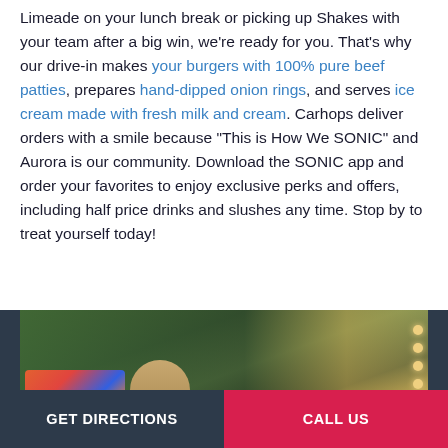Limeade on your lunch break or picking up Shakes with your team after a big win, we're ready for you. That's why our drive-in makes your burgers with 100% pure beef patties, prepares hand-dipped onion rings, and serves ice cream made with fresh milk and cream. Carhops deliver orders with a smile because "This is How We SONIC" and Aurora is our community. Download the SONIC app and order your favorites to enjoy exclusive perks and offers, including half price drinks and slushes any time. Stop by to treat yourself today!
[Figure (photo): Photo of a SONIC drive-in ordering screen/menu board with colorful food images, a person partially visible, and overhead lights visible in the background against green foliage.]
GET DIRECTIONS    CALL US